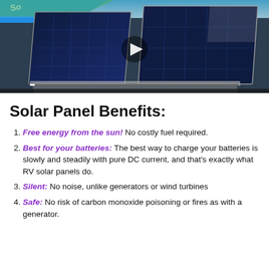[Figure (photo): Photo of solar panels mounted on an RV roof, viewed at an angle, with a blue diagonal banner in the top-left corner partially showing text. A play button overlay is visible in the center of the image.]
Solar Panel Benefits:
Free energy from the sun! No costly fuel required.
Best for your batteries: The best way to charge your batteries is slowly and steadily with pure DC current, and that's exactly what RV solar panels do.
Silent: No noise, unlike generators or wind turbines
Safe: No risk of carbon monoxide poisoning or fires as with a generator.